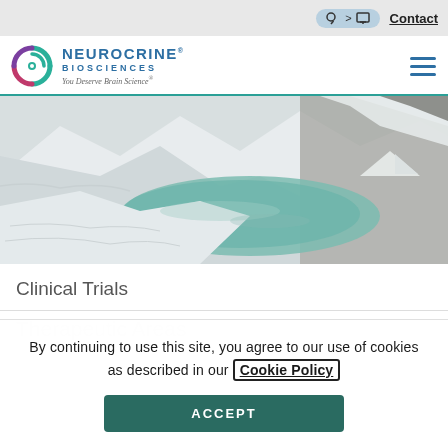Contact
[Figure (logo): Neurocrine Biosciences logo with circular swirl icon and tagline 'You Deserve Brain Science']
[Figure (photo): Aerial landscape photo of snow-covered mountains and a teal glacial lake]
Clinical Trials
By continuing to use this site, you agree to our use of cookies as described in our Cookie Policy
ACCEPT
Therapeutic Areas